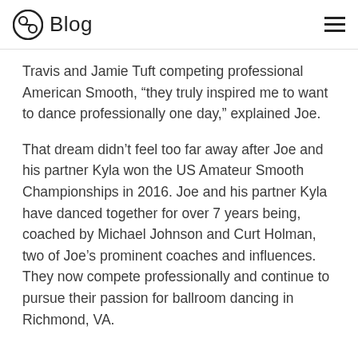Blog
Travis and Jamie Tuft competing professional American Smooth, "they truly inspired me to want to dance professionally one day," explained Joe.
That dream didn't feel too far away after Joe and his partner Kyla won the US Amateur Smooth Championships in 2016. Joe and his partner Kyla have danced together for over 7 years being, coached by Michael Johnson and Curt Holman, two of Joe's prominent coaches and influences. They now compete professionally and continue to pursue their passion for ballroom dancing in Richmond, VA.